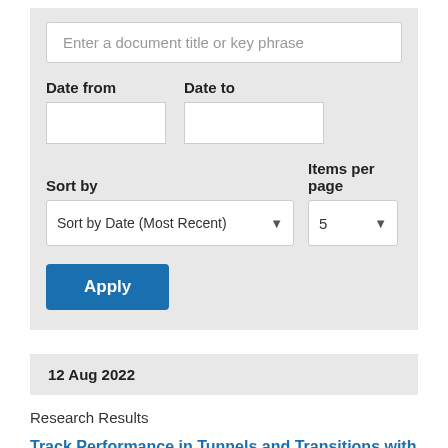Enter a document title or key phrase
Date from
Date to
Sort by
Items per page
Sort by Date (Most Recent)
5
Apply
12 Aug 2022
Research Results
Track Performance in Tunnels and Transitions with Under Tie Pads and Under Ballast Mats